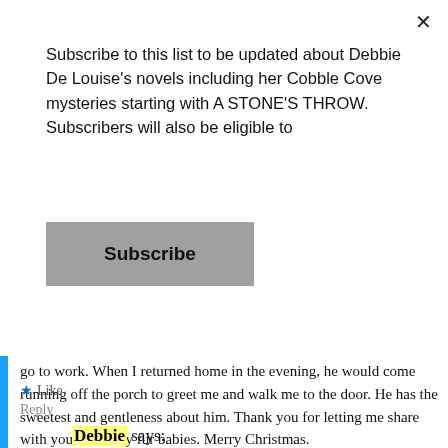Subscribe to this list to be updated about Debbie De Louise's novels including her Cobble Cove mysteries starting with A STONE'S THROW. Subscribers will also be eligible to
Subscribe
go to work. When I returned home in the evening, he would come running off the porch to greet me and walk me to the door. He has the sweetest and gentleness about him. Thank you for letting me share with you about my fur babies. Merry Christmas.
★ Like
Reply
Debbie says: